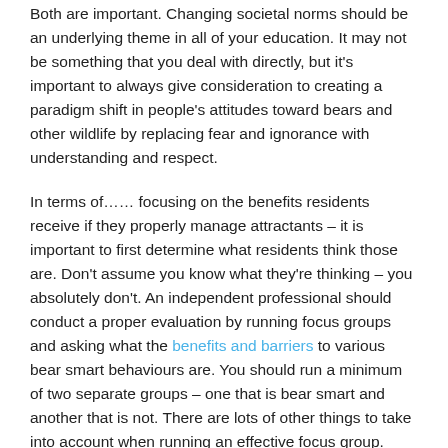Both are important. Changing societal norms should be an underlying theme in all of your education. It may not be something that you deal with directly, but it's important to always give consideration to creating a paradigm shift in people's attitudes toward bears and other wildlife by replacing fear and ignorance with understanding and respect.
In terms of…… focusing on the benefits residents receive if they properly manage attractants – it is important to first determine what residents think those are. Don't assume you know what they're thinking – you absolutely don't. An independent professional should conduct a proper evaluation by running focus groups and asking what the benefits and barriers to various bear smart behaviours are. You should run a minimum of two separate groups – one that is bear smart and another that is not. There are lots of other things to take into account when running an effective focus group. Review Whistler's Focus Group Report.